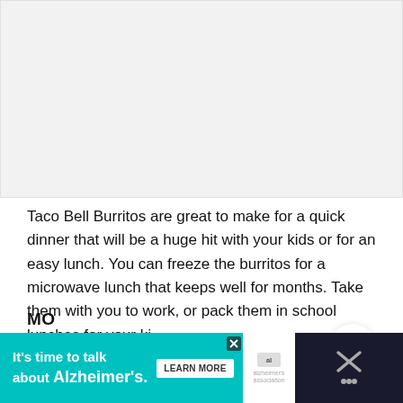[Figure (photo): Large image placeholder area (light gray), representing a food photo of Taco Bell Burritos]
Taco Bell Burritos are great to make for a quick dinner that will be a huge hit with your kids or for an easy lunch. You can freeze the burritos for a microwave lunch that keeps well for months. Take them with you to work, or pack them in school lunches for your ki…
[Figure (screenshot): Advertisement banner: teal background with text 'It's time to talk about Alzheimer's.' with a Learn More button and Alzheimer's Association logo. Right side has dark background with dismiss controls.]